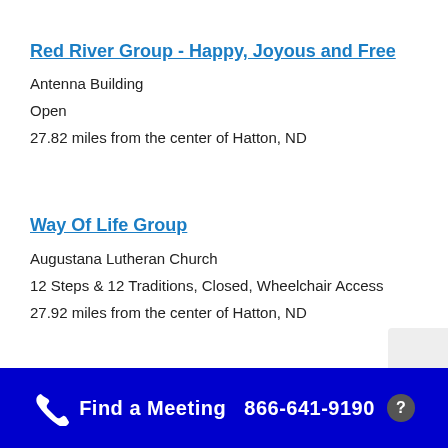Red River Group - Happy, Joyous and Free
Antenna Building
Open
27.82 miles from the center of Hatton, ND
Way Of Life Group
Augustana Lutheran Church
12 Steps & 12 Traditions, Closed, Wheelchair Access
27.92 miles from the center of Hatton, ND
Find a Meeting  866-641-9190